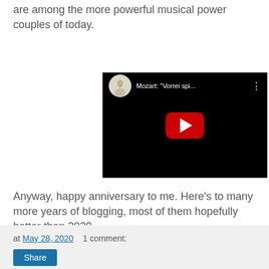are among the more powerful musical power couples of today.
[Figure (screenshot): YouTube video thumbnail showing a woman performing, with the title 'Mozart: "Vorrei spi...' and a YouTube channel avatar in the top bar. A red play button is centered on the dark thumbnail.]
Anyway, happy anniversary to me. Here’s to many more years of blogging, most of them hopefully better than 2020.
at May 28, 2020    1 comment:    Share